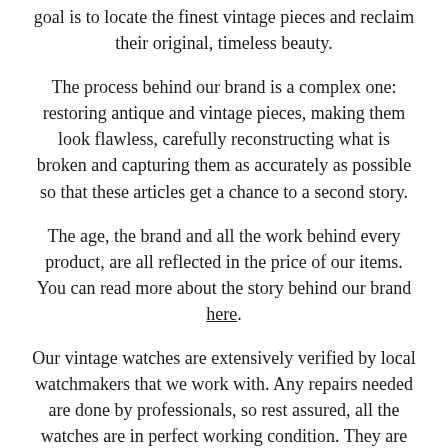goal is to locate the finest vintage pieces and reclaim their original, timeless beauty.
The process behind our brand is a complex one: restoring antique and vintage pieces, making them look flawless, carefully reconstructing what is broken and capturing them as accurately as possible so that these articles get a chance to a second story.
The age, the brand and all the work behind every product, are all reflected in the price of our items. You can read more about the story behind our brand here.
Our vintage watches are extensively verified by local watchmakers that we work with. Any repairs needed are done by professionals, so rest assured, all the watches are in perfect working condition. They are additionally checked for another 24 hours, once the order is placed, before shipping.
The pieces we sell are vintage, so they may present marks of the passage of time. Make sure you have a close look at the photos of each product. We try to capture them as accurately...